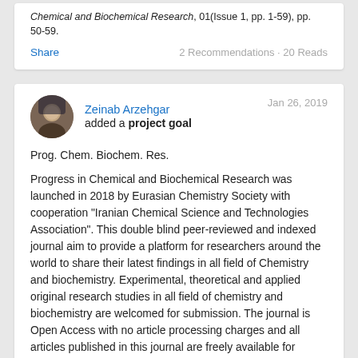Chemical and Biochemical Research, 01(Issue 1, pp. 1-59), pp. 50-59.
Share   2 Recommendations · 20 Reads
Zeinab Arzehgar added a project goal   Jan 26, 2019
Prog. Chem. Biochem. Res.
Progress in Chemical and Biochemical Research was launched in 2018 by Eurasian Chemistry Society with cooperation "Iranian Chemical Science and Technologies Association". This double blind peer-reviewed and indexed journal aim to provide a platform for researchers around the world to share their latest findings in all field of Chemistry and biochemistry. Experimental, theoretical and applied original research studies in all field of chemistry and biochemistry are welcomed for submission. The journal is Open Access with no article processing charges and all articles published in this journal are freely available for readers